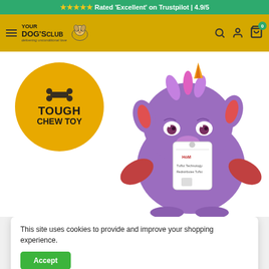★★★★★ Rated 'Excellent' on Trustpilot | 4.9/5
[Figure (logo): Your Dog's Club logo with hamburger menu, dog illustration, search, account, and cart icons on a golden/mustard yellow navigation bar]
[Figure (photo): Purple monster/dragon plush toy (goDog brand) with unicorn horn, red accents, fuzzy hair, and a product hang tag. A large golden circle badge overlay reads TOUGH CHEW TOY with a bone icon.]
This site uses cookies to provide and improve your shopping experience.
Accept